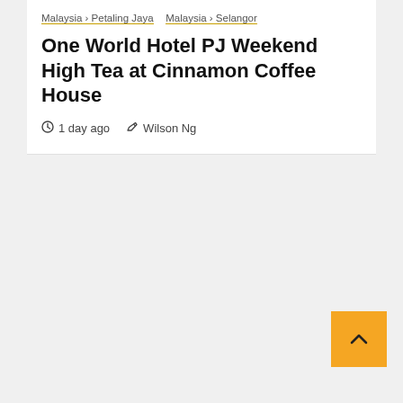Malaysia › Petaling Jaya   Malaysia › Selangor
One World Hotel PJ Weekend High Tea at Cinnamon Coffee House
1 day ago   Wilson Ng
[Figure (other): Back to top button — amber/yellow square with upward-pointing chevron arrow]